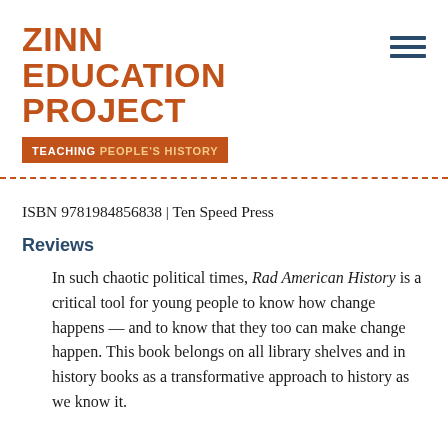ZINN EDUCATION PROJECT — TEACHING PEOPLE'S HISTORY
ISBN 9781984856838 | Ten Speed Press
Reviews
In such chaotic political times, Rad American History is a critical tool for young people to know how change happens — and to know that they too can make change happen. This book belongs on all library shelves and in history books as a transformative approach to history as we know it.